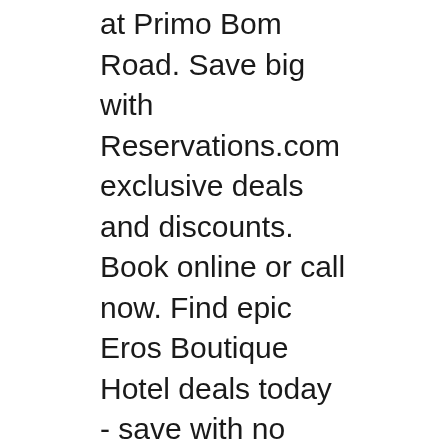at Primo Bom Road. Save big with Reservations.com exclusive deals and discounts. Book online or call now. Find epic Eros Boutique Hotel deals today - save with no hotel booking fees & price promise! Located in Baga, this hotel is close to Baga Beach and more!
Eros Boutique Hotel Goa deals and offers 108 traveller reviews, 186 asli photos for Eros Boutique Hotel Rated 3.4 / 5 on goibibo Eros Boutique Hotel Goa India Photos Room Rates Eros Boutique Hotel Goa Inr 347 Off 2200 Hotel A Hotelcom Eros Boutique Hotel Bed And Breakfast Baga Eros Boutique Hotel In Baga Hotel Rates Reviews On Orbitz Pin On 5 Star Hotels Near Delhi